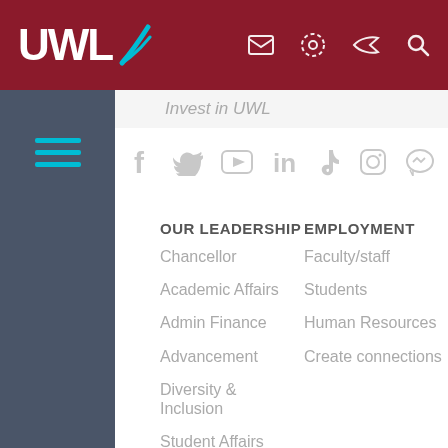[Figure (logo): UWL logo in white on dark red background]
Invest in UWL
[Figure (infographic): Social media icons: Facebook, Twitter, YouTube, LinkedIn, TikTok, Instagram, and one more icon]
OUR LEADERSHIP
Chancellor
Academic Affairs
Admin Finance
Advancement
Diversity & Inclusion
Student Affairs
Shared governance
UW System
CAMPUS INFO
Emergency
EMPLOYMENT
Faculty/staff
Students
Human Resources
Create connections